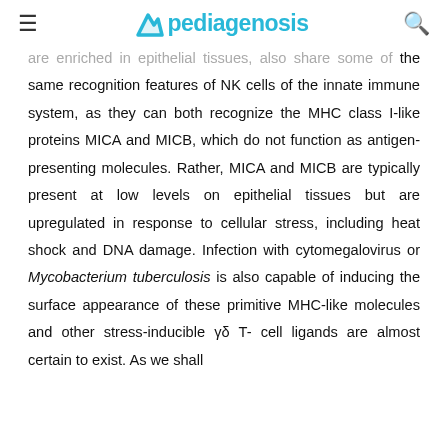pediagenosis
are enriched in epithelial tissues, also share some of the same recognition features of NK cells of the innate immune system, as they can both recognize the MHC class I-like proteins MICA and MICB, which do not function as antigen-presenting molecules. Rather, MICA and MICB are typically present at low levels on epithelial tissues but are upregulated in response to cellular stress, including heat shock and DNA damage. Infection with cytomegalovirus or Mycobacterium tuberculosis is also capable of inducing the surface appearance of these primitive MHC-like molecules and other stress-inducible γδ T-cell ligands are almost certain to exist. As we shall